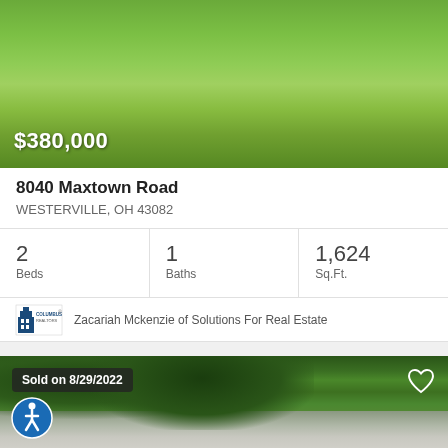[Figure (photo): Aerial/ground view of green lawn/grass with price overlay $380,000]
8040 Maxtown Road
WESTERVILLE, OH 43082
2 Beds  |  1 Baths  |  1,624 Sq.Ft.
Zacariah Mckenzie of Solutions For Real Estate
[Figure (photo): Exterior photo of house with large trees, sold on 8/29/2022 badge, heart icon, accessibility icon]